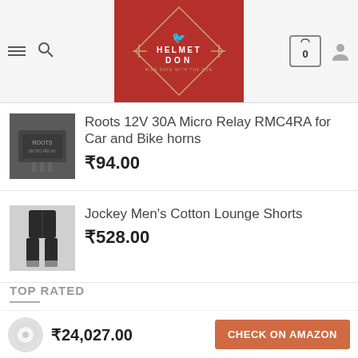[Figure (screenshot): Helmet Don e-commerce website header with logo on red background, hamburger menu, search icon, cart with 0 items, and user icon]
[Figure (photo): Roots 12V 30A Micro Relay RMC4RA product image - dark grey relay device]
Roots 12V 30A Micro Relay RMC4RA for Car and Bike horns
₹94.00
[Figure (photo): Jockey Men's Cotton Lounge Shorts product image - black shorts on model]
Jockey Men's Cotton Lounge Shorts
₹528.00
TOP RATED
[Figure (photo): Healthy Crumbs Superfood Spirulina Powder product image - dark background with white container]
Healthy Crumbs Superfood Spirulina Powder | Immunity Booster | Weight Management & Detox | 150g
★★★★★
₹24,027.00
CHECK ON AMAZON